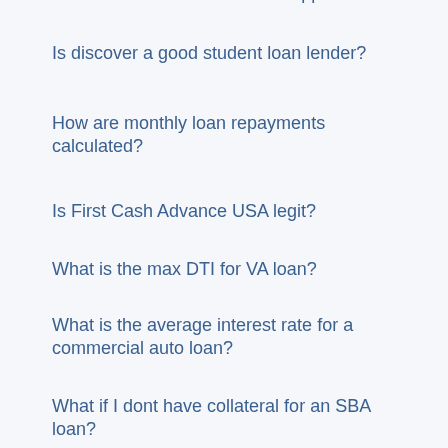Can a loan be cancelled after approval?
Is discover a good student loan lender?
How are monthly loan repayments calculated?
Is First Cash Advance USA legit?
What is the max DTI for VA loan?
What is the average interest rate for a commercial auto loan?
What if I dont have collateral for an SBA loan?
Can you take out equity on a manufactured home?